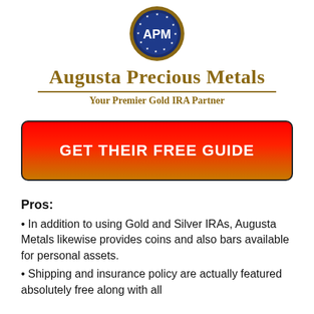[Figure (logo): APM circular logo with blue background and gold border, white stars around edge, 'APM' text in white]
Augusta Precious Metals
Your Premier Gold IRA Partner
[Figure (other): Red to orange/gold gradient button with text GET THEIR FREE GUIDE]
Pros:
In addition to using Gold and Silver IRAs, Augusta Metals likewise provides coins and also bars available for personal assets.
Shipping and insurance policy are actually featured absolutely free along with all